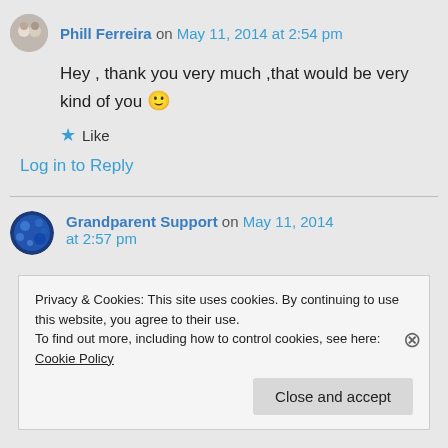Phill Ferreira on May 11, 2014 at 2:54 pm
Hey , thank you very much ,that would be very kind of you 🙂
Like
Log in to Reply
Grandparent Support on May 11, 2014 at 2:57 pm
Privacy & Cookies: This site uses cookies. By continuing to use this website, you agree to their use.
To find out more, including how to control cookies, see here: Cookie Policy
Close and accept